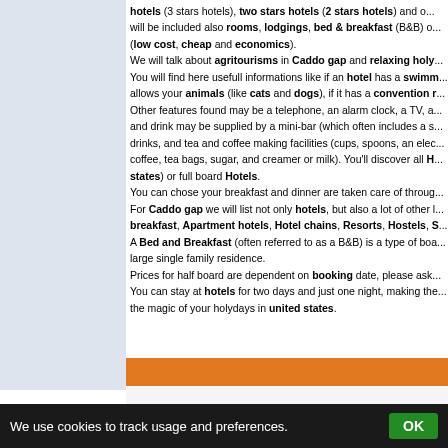hotels (3 stars hotels), two stars hotels (2 stars hotels) and o... will be included also rooms, lodgings, bed & breakfast (B&B) o... (low cost, cheap and economics). We will talk about agritourisms in Caddo gap and relaxing holy... You will find here usefull informations like if an hotel has a swimm... allows your animals (like cats and dogs), if it has a convention r... Other features found may be a telephone, an alarm clock, a TV, a... and drink may be supplied by a mini-bar (which often includes a s... drinks, and tea and coffee making facilities (cups, spoons, an elec... coffee, tea bags, sugar, and creamer or milk). You'll discover all H... states) or full board Hotels. You can chose your breakfast and dinner are taken care of throug... For Caddo gap we will list not only hotels, but also a lot of other ... breakfast, Apartment hotels, Hotel chains, Resorts, Hostels, S... A Bed and Breakfast (often referred to as a B&B) is a type of boa... large single family residence. Prices for half board are dependent on booking date, please ask... You can stay at hotels for two days and just one night, making the... the magic of your holydays in united states.
We use cookies to track usage and preferences. OK